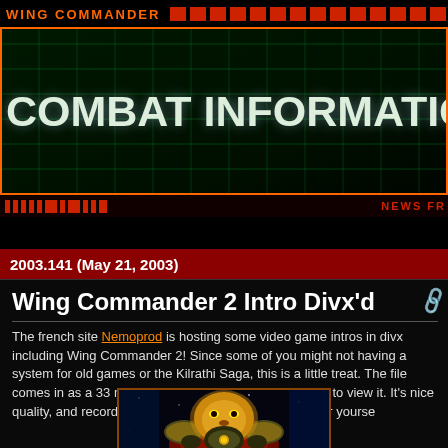WING COMMANDER
[Figure (screenshot): Wing Commander Combat Information Center banner with green grid background and 'COMBAT INFORMATION CENTER' text in large white bold letters, orange border]
2003.141 (May 21, 2003)
Wing Commander 2 Intro Divx'd
The french site Nemoprod is hosting some video game intros in divx including Wing Commander 2! Since some of you might not having a system for old games or the Kilrathi Saga, this is a little treat. The file comes in as a 33 meg divx. You'll probably need Divx 5 to view it. It's nice quality, and recorded without subtitles. You can get it for yourself
[Figure (screenshot): Screenshot from Wing Commander 2 intro showing a Kilrathi alien character (lion-like face) in ornate armor against a space background]